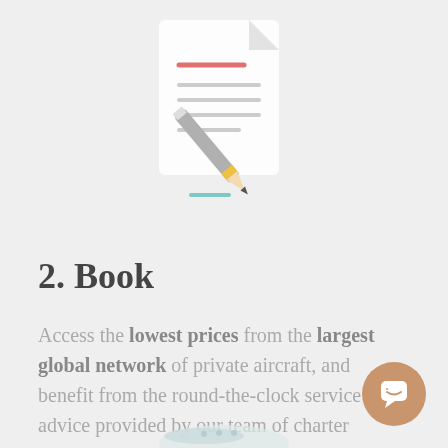[Figure (illustration): Illustration of a document/contract with a pencil writing on it, shown in light muted colors (gray, teal, red/orange accents)]
2. Book
Access the lowest prices from the largest global network of private aircraft, and benefit from the round-the-clock service & advice provided by our team of charter experts prior to booking.
[Figure (illustration): Partial illustration of an airplane visible at the bottom of the page]
[Figure (other): Round tan/brown chat button with a white speech bubble icon in the bottom right corner]